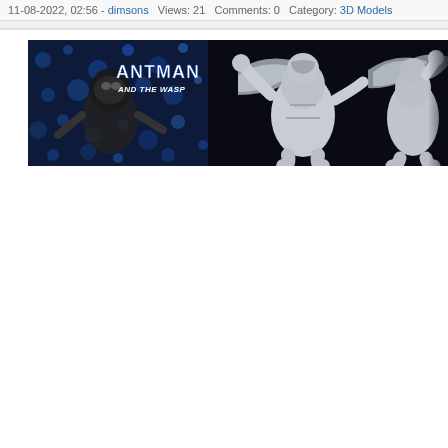11-08-2022, 02:56 - dimsons   Views: 21   Comments: 0   Category: 3D Models
[Figure (photo): Banner image for 'Antman and the Wasp' 3D models. Shows the Antman and the Wasp logo text on blue bokeh background on the left, and 3D printed/rendered figurines of the Wasp character (center and right) in gray resin, with wings spread and fighting poses, against a dark background.]